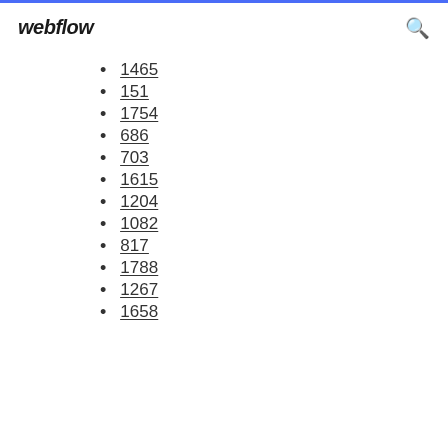webflow
1465
151
1754
686
703
1615
1204
1082
817
1788
1267
1658